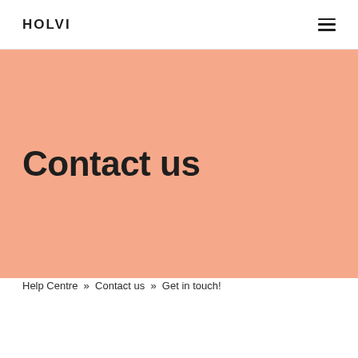HOLVI
Contact us
Help Centre  »  Contact us  »  Get in touch!